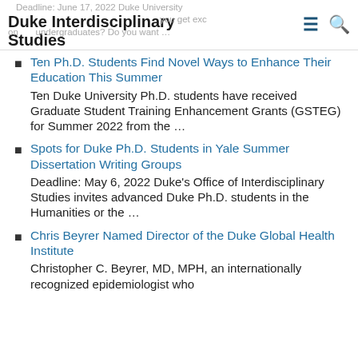Duke Interdisciplinary Studies
Ten Ph.D. Students Find Novel Ways to Enhance Their Education This Summer
Ten Duke University Ph.D. students have received Graduate Student Training Enhancement Grants (GSTEG) for Summer 2022 from the …
Spots for Duke Ph.D. Students in Yale Summer Dissertation Writing Groups
Deadline: May 6, 2022 Duke's Office of Interdisciplinary Studies invites advanced Duke Ph.D. students in the Humanities or the …
Chris Beyrer Named Director of the Duke Global Health Institute
Christopher C. Beyrer, MD, MPH, an internationally recognized epidemiologist who